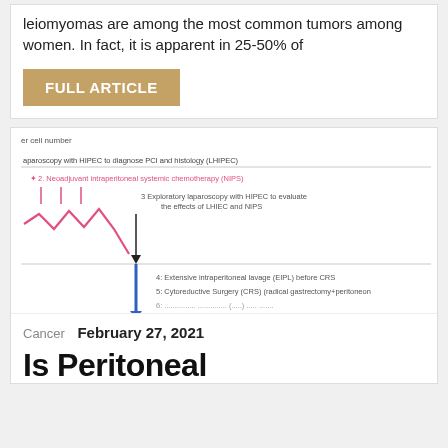leiomyomas are among the most common tumors among women. In fact, it is apparent in 25-50% of
FULL ARTICLE
[Figure (flowchart): Medical treatment flowchart showing steps involving laparoscopy with HIPEC, Neoadjuvant intraperitoneal systemic chemotherapy (NIPS), Exploratory laparoscopy with HIPEC, Extensive intraperitoneal lavage (EIPL) before CRS, Cytoreductive Surgery (CRS) (radical gastrectomy+peritoneal), with pink and blue arrows indicating different treatment phases and tumor cell number changes.]
Cancer   February 27, 2021
Is Peritoneal